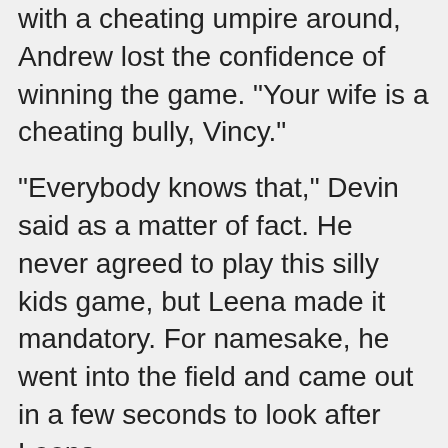with a cheating umpire around, Andrew lost the confidence of winning the game. "Your wife is a cheating bully, Vincy."
"Everybody knows that," Devin said as a matter of fact. He never agreed to play this silly kids game, but Leena made it mandatory. For namesake, he went into the field and came out in a few seconds to look after Leena.
His eyes never left the sight of her. Although Leena is not playing the game, dangers come unexpectedly. The bump showed up significantly in the third trimester. Every day, he is closer to